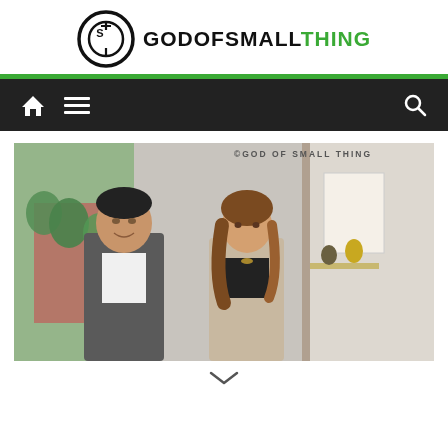[Figure (logo): God of Small Thing website logo with circular G icon and site name in black and green text]
[Figure (other): Navigation bar with home icon, hamburger menu, and search icon on dark background]
[Figure (photo): Two people (a man in grey suit and a woman in beige blazer) posing indoors, with watermark 'GOD OF SMALL THING' in top right corner]